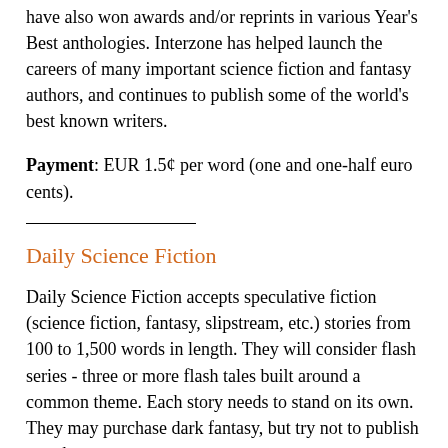have also won awards and/or reprints in various Year's Best anthologies. Interzone has helped launch the careers of many important science fiction and fantasy authors, and continues to publish some of the world's best known writers.
Payment: EUR 1.5¢ per word (one and one-half euro cents).
Daily Science Fiction
Daily Science Fiction accepts speculative fiction (science fiction, fantasy, slipstream, etc.) stories from 100 to 1,500 words in length. They will consider flash series - three or more flash tales built around a common theme. Each story needs to stand on its own. They may purchase dark fantasy, but try not to publish pure horror.
Payment: 8 cents/word. No reprints. No simultaneous submissions.